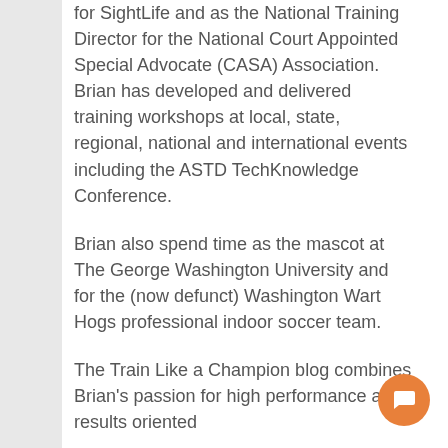for SightLife and as the National Training Director for the National Court Appointed Special Advocate (CASA) Association. Brian has developed and delivered training workshops at local, state, regional, national and international events including the ASTD TechKnowledge Conference.
Brian also spend time as the mascot at The George Washington University and for the (now defunct) Washington Wart Hogs professional indoor soccer team.
The Train Like a Champion blog combines Brian's passion for high performance and results oriented